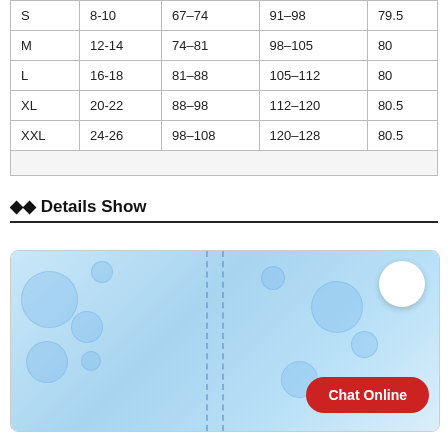| S | 8-10 | 67–74 | 91–98 | 79.5 |
| M | 12-14 | 74–81 | 98–105 | 80 |
| L | 16-18 | 81–88 | 105–112 | 80 |
| XL | 20-22 | 88–98 | 112–120 | 80.5 |
| XXL | 24-26 | 98–108 | 120–128 | 80.5 |
◆◆ Details Show
[Figure (photo): Blue fabric/textile detail photo with bubble/water motifs and a seam line visible, with a Chat Online button overlay]